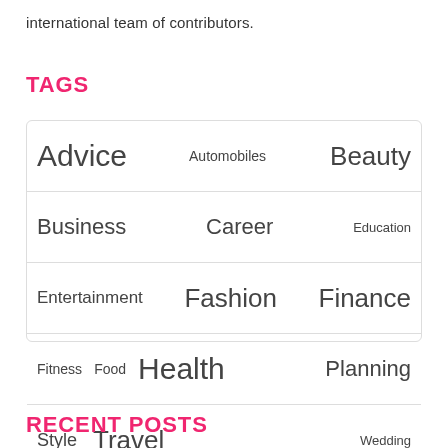international team of contributors.
TAGS
Advice
Automobiles
Beauty
Business
Career
Education
Entertainment
Fashion
Finance
Fitness
Food
Health
Planning
Style
Travel
Wedding
RECENT POSTS